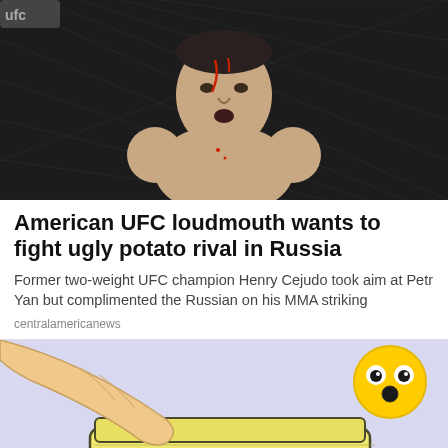[Figure (photo): A male UFC fighter with blood on his face, shirtless, standing in the octagon against a dark chain-link fence background.]
American UFC loudmouth wants to fight ugly potato rival in Russia
Former two-weight UFC champion Henry Cejudo took aim at Petr Yan but complimented the Russian on his MMA striking
centralamericanews
[Figure (illustration): A cartoon illustration of a fist or finger pressing into a jar of yellow cream/substance, with a surprised face emoji (eyes wide open) in the upper right corner. The background is light purple/lavender.]